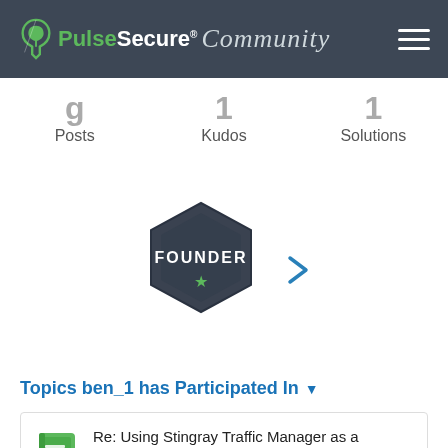Pulse Secure Community
Posts   Kudos   Solutions
[Figure (illustration): Hexagonal dark badge with 'FOUNDER' text and a green star, with a blue right-arrow chevron beside it]
Topics ben_1 has Participated In
Re: Using Stingray Traffic Manager as a Forward Pr...
by Liooooo in Pulse Secure vADC